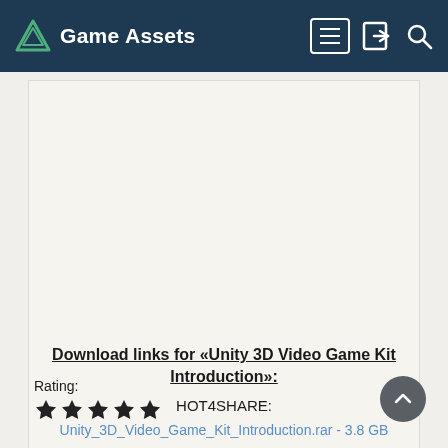Game Assets
Download links for «Unity 3D Video Game Kit Introduction»:
HOT4SHARE:
Unity_3D_Video_Game_Kit_Introduction.rar - 3.8 GB
Rating: ★★★★★